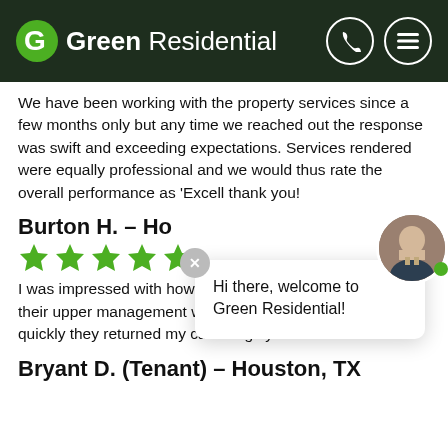Green Residential
We have been working with the property services since a few months only but any time we reached out the response was swift and exceeding expectations. Services rendered were equally professional and we would thus rate the overall performance as 'Excell thank you!
Burton H. – Ho
[Figure (other): 5 green stars rating]
I was impressed with how easy it was to communicate with their upper management when I had questions, and how quickly they returned my calls. Highly recommend!
Bryant D. (Tenant) – Houston, TX
Hi there, welcome to Green Residential!